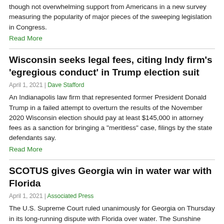though not overwhelming support from Americans in a new survey measuring the popularity of major pieces of the sweeping legislation in Congress.
Read More
Wisconsin seeks legal fees, citing Indy firm's 'egregious conduct' in Trump election suit
April 1, 2021 | Dave Stafford
An Indianapolis law firm that represented former President Donald Trump in a failed attempt to overturn the results of the November 2020 Wisconsin election should pay at least $145,000 in attorney fees as a sanction for bringing a "meritless" case, filings by the state defendants say.
Read More
SCOTUS gives Georgia win in water war with Florida
April 1, 2021 | Associated Press
The U.S. Supreme Court ruled unanimously for Georgia on Thursday in its long-running dispute with Florida over water. The Sunshine State had alleged overconsumption of water in the Peach State, but to allow the Florida Gulf Coast to get its share...